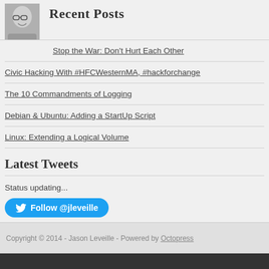[Figure (photo): Black and white headshot photo of a man wearing glasses, smiling]
Recent Posts
Stop the War: Don't Hurt Each Other
Civic Hacking With #HFCWesternMA, #hackforchange
The 10 Commandments of Logging
Debian & Ubuntu: Adding a StartUp Script
Linux: Extending a Logical Volume
Latest Tweets
Status updating...
Follow @jleveille
Copyright © 2014 - Jason Leveille - Powered by Octopress